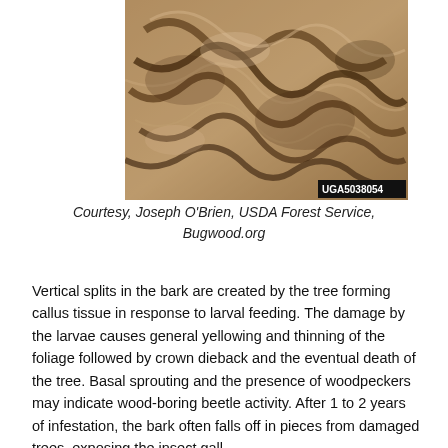[Figure (photo): Close-up photograph of tree bark showing winding gallery tunnels carved by wood-boring beetle larvae beneath the bark surface. Image ID UGA5038054 visible in bottom-right corner.]
Courtesy, Joseph O'Brien, USDA Forest Service, Bugwood.org
Vertical splits in the bark are created by the tree forming callus tissue in response to larval feeding. The damage by the larvae causes general yellowing and thinning of the foliage followed by crown dieback and the eventual death of the tree. Basal sprouting and the presence of woodpeckers may indicate wood-boring beetle activity. After 1 to 2 years of infestation, the bark often falls off in pieces from damaged trees, exposing the insect galleries.